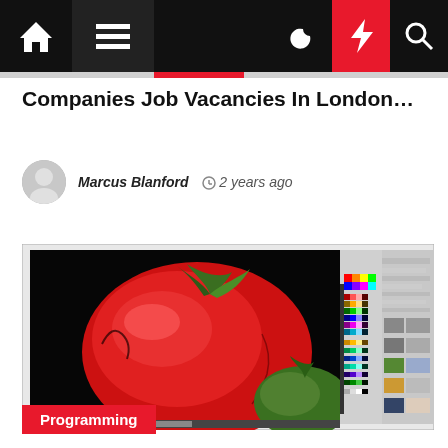Navigation bar with home, menu, moon, bolt, and search icons
Companies Job Vacancies In London…
Marcus Blanford  2 years ago
[Figure (screenshot): Screenshot of a photo editing application (likely GIMP) showing a large red tomato with green stem on a black background, with toolbox/color palette panels on the right side]
Programming